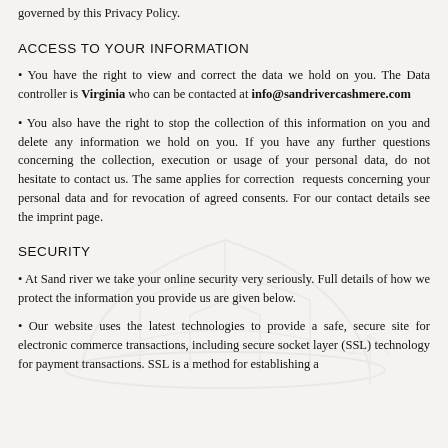governed by this Privacy Policy.
ACCESS TO YOUR INFORMATION
• You have the right to view and correct the data we hold on you. The Data controller is Virginia who can be contacted at info@sandrivercashmere.com
• You also have the right to stop the collection of this information on you and delete any information we hold on you. If you have any further questions concerning the collection, execution or usage of your personal data, do not hesitate to contact us. The same applies for correction requests concerning your personal data and for revocation of agreed consents. For our contact details see the imprint page.
SECURITY
• At Sand river we take your online security very seriously. Full details of how we protect the information you provide us are given below.
• Our website uses the latest technologies to provide a safe, secure site for electronic commerce transactions, including secure socket layer (SSL) technology for payment transactions. SSL is a method for establishing a